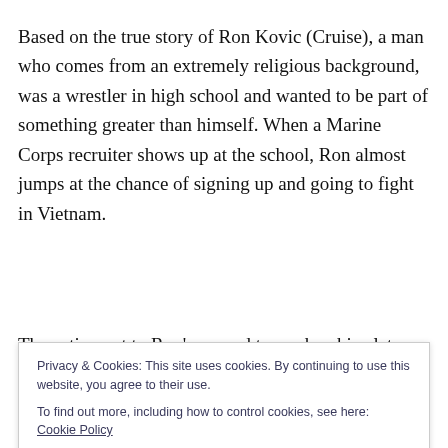Based on the true story of Ron Kovic (Cruise), a man who comes from an extremely religious background, was a wrestler in high school and wanted to be part of something greater than himself. When a Marine Corps recruiter shows up at the school, Ron almost jumps at the chance of signing up and going to fight in Vietnam.
The action cut to Ron's second tour when his platoon shot...
Privacy & Cookies: This site uses cookies. By continuing to use this website, you agree to their use. To find out more, including how to control cookies, see here: Cookie Policy
shooting one of his fellow soldiers, PFC Wilson (Michael